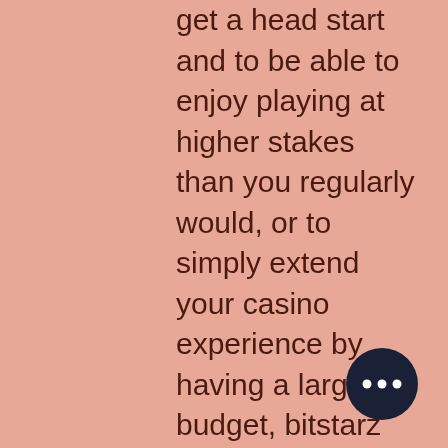get a head start and to be able to enjoy playing at higher stakes than you regularly would, or to simply extend your casino experience by having a larger budget, bitstarz 20 gratissnurr. We understand that Bitcoin casinos are held to a higher standard than the regular casinos when it comes to bonuses and promotions, so we make sure that all casinos on our lists offer a sizeable bonus for new players. This allows some of them, like 1xBit, to operate anonymously and accept players worldwide, бездепозитный бонус bitstarz. Although you might need to use a VPN to access their site, depending on your location. They employ industry standard security protocols (128 bit, SSL data encryption technology) to ensure that all transactions including deposits and withdrawals are carried out in a totally secure environment, cleos gold bitstarz assured that under no circumstances will pass on your details to a third party.